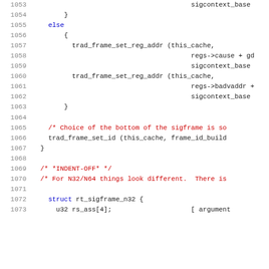Source code listing, lines 1053-1073, C code with syntax highlighting
[Figure (screenshot): Syntax-highlighted C source code showing lines 1053-1073 with function calls trad_frame_set_reg_addr, trad_frame_set_id, struct definition, and comments]